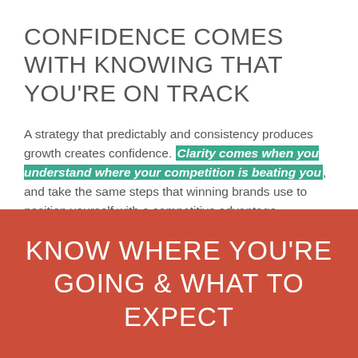CONFIDENCE COMES WITH KNOWING THAT YOU'RE ON TRACK
A strategy that predictably and consistency produces growth creates confidence. Clarity comes when you understand where your competition is beating you, and take the same steps that winning brands use to position yourself with a competitive advantage.
KNOW WHERE YOU'RE GOING & WHAT TO EXPECT